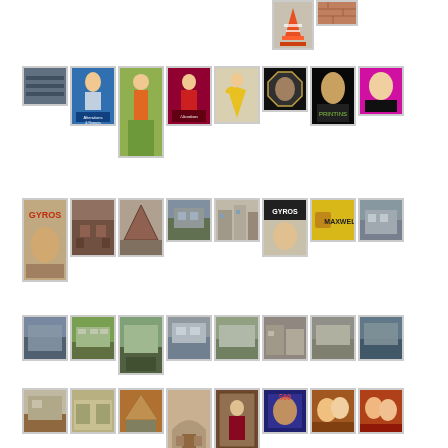[Figure (photo): Collage of multiple thumbnail photographs arranged in rows. Top row: traffic cone image and orange/red surface. Second row: various artworks and signs including alterations & repairs shop signs, figures in colorful clothes, portraits, pop art. Third row: Gyros restaurant sign, architectural buildings, Maxwell advertisement. Fourth row: architectural/building exterior shots. Fifth row: more buildings and artwork/murals.]